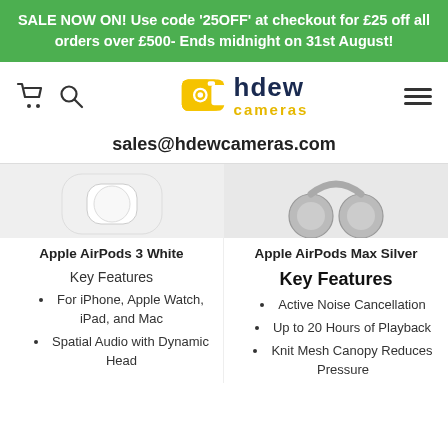SALE NOW ON! Use code '25OFF' at checkout for £25 off all orders over £500- Ends midnight on 31st August!
[Figure (logo): hdew cameras logo with yellow camera icon, dark blue 'hdew' text and yellow 'cameras' text]
sales@hdewcameras.com
[Figure (photo): Apple AirPods 3 White product image showing white earbuds in case]
[Figure (photo): Apple AirPods Max Silver product image showing silver over-ear headphones]
Apple AirPods 3 White
Apple AirPods Max Silver
Key Features
Key Features
For iPhone, Apple Watch, iPad, and Mac
Spatial Audio with Dynamic Head Tracking
Active Noise Cancellation
Up to 20 Hours of Playback
Knit Mesh Canopy Reduces Pressure